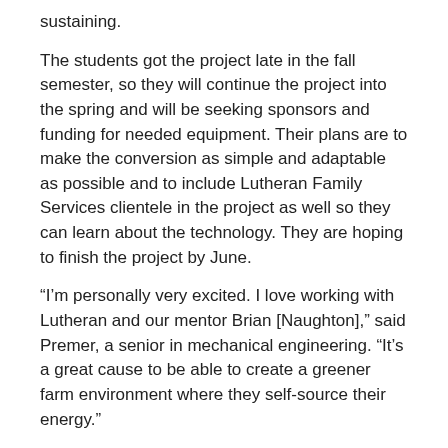sustaining.
The students got the project late in the fall semester, so they will continue the project into the spring and will be seeking sponsors and funding for needed equipment. Their plans are to make the conversion as simple and adaptable as possible and to include Lutheran Family Services clientele in the project as well so they can learn about the technology. They are hoping to finish the project by June.
“I’m personally very excited. I love working with Lutheran and our mentor Brian [Naughton],” said Premer, a senior in mechanical engineering. “It’s a great cause to be able to create a greener farm environment where they self-source their energy.”
Other organizations participating were:
The Center for Social Sustainable Systems, which works on preserving acequias and sustainable solutions to save land and water by traditional methods. Students conducted research on water rights issues and acequias and helped re-establish a digital newsletter.
Encuentro, which engages Latino immigrant families in